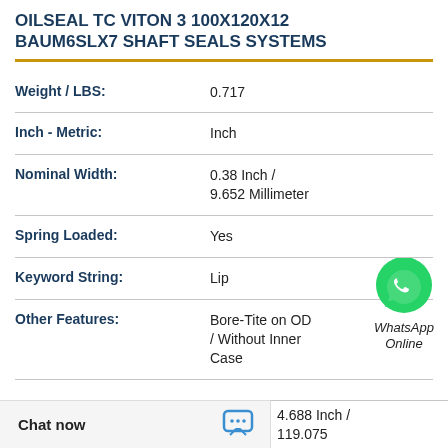OILSEAL TC VITON 3 100X120X12 BAUM6SLX7 SHAFT SEALS SYSTEMS
| Property | Value |
| --- | --- |
| Weight / LBS: | 0.717 |
| Inch - Metric: | Inch |
| Nominal Width: | 0.38 Inch / 9.652 Millimeter |
| Spring Loaded: | Yes |
| Keyword String: | Lip |
| Other Features: | Bore-Tite on OD / Without Inner Case |
|  | 4.688 Inch / 119.075 |
[Figure (logo): WhatsApp green circle logo icon with phone handset]
WhatsApp Online
Chat now